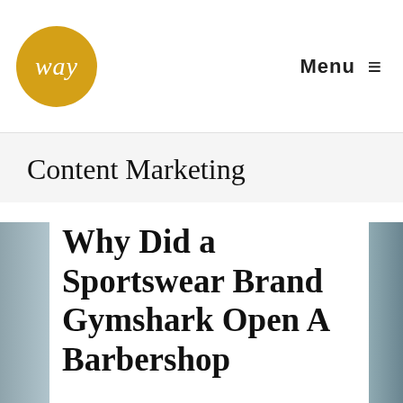way | Menu ≡
Content Marketing
Why Did a Sportswear Brand Gymshark Open A Barbershop
[Figure (photo): Partial photo of a building/storefront on the left side and right side of the article card]